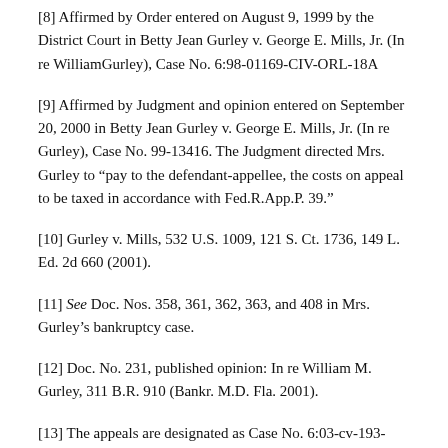[8] Affirmed by Order entered on August 9, 1999 by the District Court in Betty Jean Gurley v. George E. Mills, Jr. (In re WilliamGurley), Case No. 6:98-01169-CIV-ORL-18A
[9] Affirmed by Judgment and opinion entered on September 20, 2000 in Betty Jean Gurley v. George E. Mills, Jr. (In re Gurley), Case No. 99-13416. The Judgment directed Mrs. Gurley to “pay to the defendant-appellee, the costs on appeal to be taxed in accordance with Fed.R.App.P. 39.”
[10] Gurley v. Mills, 532 U.S. 1009, 121 S. Ct. 1736, 149 L. Ed. 2d 660 (2001).
[11] See Doc. Nos. 358, 361, 362, 363, and 408 in Mrs. Gurley’s bankruptcy case.
[12] Doc. No. 231, published opinion: In re William M. Gurley, 311 B.R. 910 (Bankr. M.D. Fla. 2001).
[13] The appeals are designated as Case No. 6:03-cv-193-ORL-22JGG